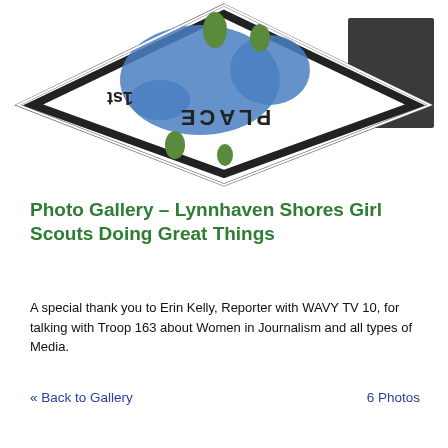[Figure (logo): Girl Scouts badge/patch — a diamond-shaped patch with blue and green world map design, with text reading 'PLACE' and '1st', shown upside down. A dark gray/black rectangle is visible in the upper right corner.]
Photo Gallery – Lynnhaven Shores Girl Scouts Doing Great Things
A special thank you to Erin Kelly, Reporter with WAVY TV 10, for talking with Troop 163 about Women in Journalism and all types of Media.
« Back to Gallery	6 Photos